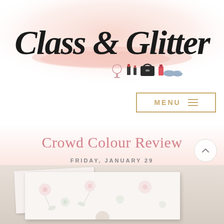[Figure (logo): Class & Glitter blog logo in calligraphic script with fashion accessory icons (mirror, lipstick, handbag, nail polish, shoes) on a pink watercolor background]
MENU ≡
Crowd Colour Review
FRIDAY, JANUARY 29
[Figure (photo): Bottom portion of a photo showing what appears to be a floral-patterned envelope or card on a beige/taupe background]